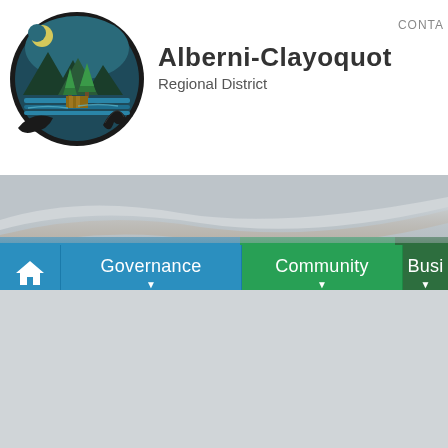[Figure (logo): Alberni-Clayoquot Regional District circular logo featuring stylized mountains, trees, water, and a whale tail silhouette in dark teal, green, and black]
Alberni-Clayoquot Regional District
CONTA
[Figure (screenshot): Navigation bar with Home icon, Governance, Community, and Business (partially visible) menu items on blue and green background with wave design]